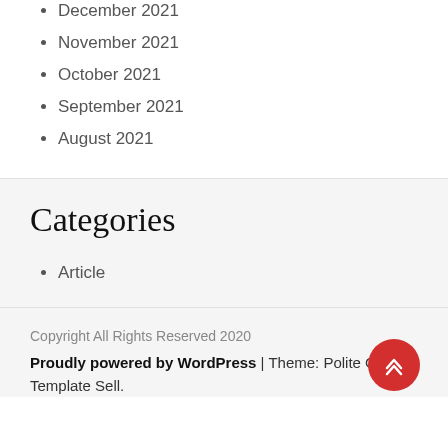December 2021
November 2021
October 2021
September 2021
August 2021
Categories
Article
Copyright All Rights Reserved 2020
Proudly powered by WordPress | Theme: Polite Grid by Template Sell.